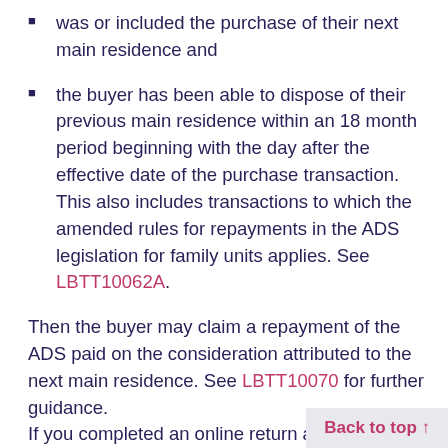was or included the purchase of their next main residence and
the buyer has been able to dispose of their previous main residence within an 18 month period beginning with the day after the effective date of the purchase transaction. This also includes transactions to which the amended rules for repayments in the ADS legislation for family units applies. See LBTT10062A.
Then the buyer may claim a repayment of the ADS paid on the consideration attributed to the next main residence. See LBTT10070 for further guidance.
If you completed an online return and are claiming